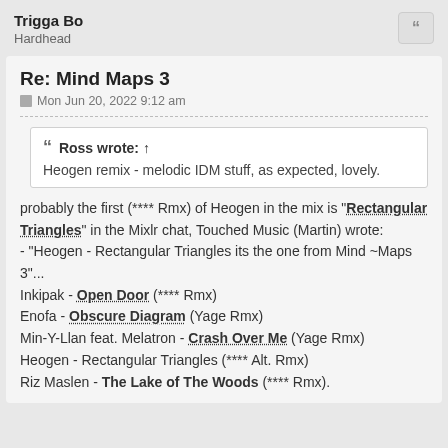Trigga Bo
Hardhead
Re: Mind Maps 3
Mon Jun 20, 2022 9:12 am
Ross wrote: ↑
Heogen remix - melodic IDM stuff, as expected, lovely.
probably the first (**** Rmx) of Heogen in the mix is "Rectangular Triangles" in the Mixlr chat, Touched Music (Martin) wrote:
- "Heogen - Rectangular Triangles its the one from Mind ~Maps 3"...
Inkipak - Open Door (**** Rmx)
Enofa - Obscure Diagram (Yage Rmx)
Min-Y-Llan feat. Melatron - Crash Over Me (Yage Rmx)
Heogen - Rectangular Triangles (**** Alt. Rmx)
Riz Maslen - The Lake of The Woods (**** Rmx).